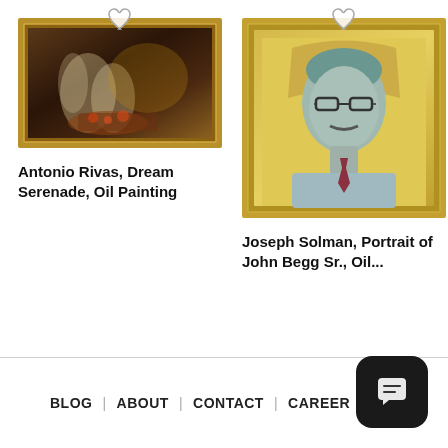[Figure (photo): Framed oil painting by Antonio Rivas titled Dream Serenade, showing a romantic scene with figures in soft warm tones]
[Figure (photo): Framed oil painting portrait by Joseph Solman of John Begg Sr., showing a man with glasses and mustache on yellow background]
Antonio Rivas, Dream Serenade, Oil Painting
Joseph Solman, Portrait of John Begg Sr., Oil...
BLOG | ABOUT | CONTACT | CAREER